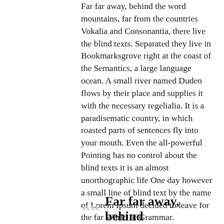Far far away, behind the word mountains, far from the countries Vokalia and Consonantia, there live the blind texts. Separated they live in Bookmarksgrove right at the coast of the Semantics, a large language ocean. A small river named Duden flows by their place and supplies it with the necessary regelialia. It is a paradisematic country, in which roasted parts of sentences fly into your mouth. Even the all-powerful Pointing has no control about the blind texts it is an almost unorthographic life One day however a small line of blind text by the name of Lorem Ipsum decided to leave for the far World of Grammar.
Far far away, behind